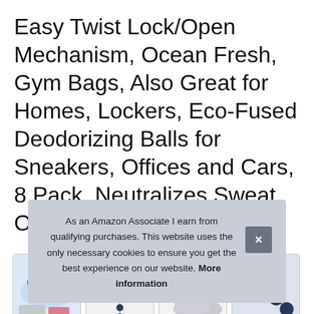Easy Twist Lock/Open Mechanism, Ocean Fresh, Gym Bags, Also Great for Homes, Lockers, Eco-Fused Deodorizing Balls for Sneakers, Offices and Cars, 8 Pack, Neutralizes Sweat Odor
[Figure (photo): Four product thumbnail images showing deodorizing balls: water splash with balls, a hanging strand of balls, a hand holding a ball near a sneaker, and a close-up of the ball strand.]
ECO... deo... footwear. Once you are done using it, twist it again to close.
As an Amazon Associate I earn from qualifying purchases. This website uses the only necessary cookies to ensure you get the best experience on our website. More information